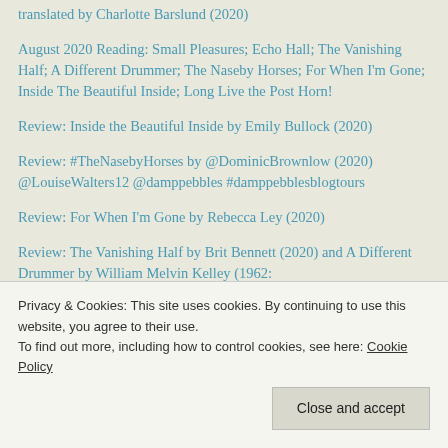translated by Charlotte Barslund (2020)
August 2020 Reading: Small Pleasures; Echo Hall; The Vanishing Half; A Different Drummer; The Naseby Horses; For When I'm Gone; Inside The Beautiful Inside; Long Live the Post Horn!
Review: Inside the Beautiful Inside by Emily Bullock (2020)
Review: #TheNasebyHorses by @DominicBrownlow (2020) @LouiseWalters12 @damppebbles #damppebblesblogtours
Review: For When I'm Gone by Rebecca Ley (2020)
Review: The Vanishing Half by Brit Bennett (2020) and A Different Drummer by William Melvin Kelley (1962:
#damppebblesblogtours
Privacy & Cookies: This site uses cookies. By continuing to use this website, you agree to their use.
To find out more, including how to control cookies, see here: Cookie Policy
Close and accept